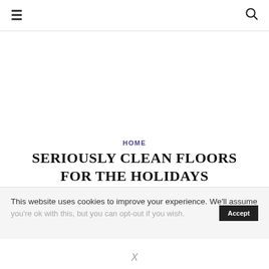☰  🔍
HOME
SERIOUSLY CLEAN FLOORS FOR THE HOLIDAYS
written by Fadra Nally  |  December 22, 2016
This website uses cookies to improve your experience. We'll assume
X